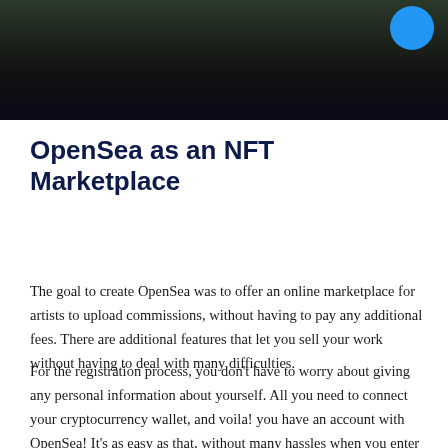[Figure (photo): Dark banner image at the top of the page, showing a dark/night scene with a blue circular button in the upper right corner]
OpenSea as an NFT Marketplace
The goal to create OpenSea was to offer an online marketplace for artists to upload commissions, without having to pay any additional fees. There are additional features that let you sell your work without having to deal with many difficulties.
For the registration process, you don’t have to worry about giving any personal information about yourself. All you need to connect your cryptocurrency wallet, and voila! you have an account with OpenSea! It’s as easy as that, without many hassles when you enter into NFTs.